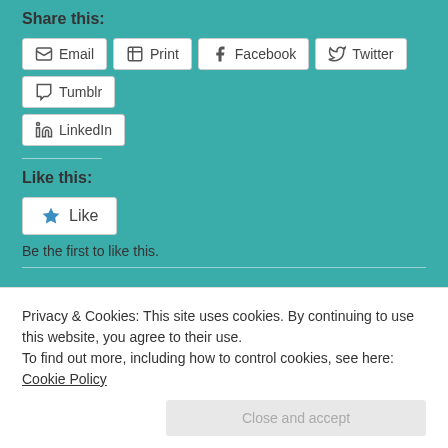Share this:
Email  Print  Facebook  Twitter  Tumblr
LinkedIn
Like this:
Like
Be the first to like this.
Category  Play A Day  Tags  dating  feminism  no  Tindr
Privacy & Cookies: This site uses cookies. By continuing to use this website, you agree to their use. To find out more, including how to control cookies, see here: Cookie Policy